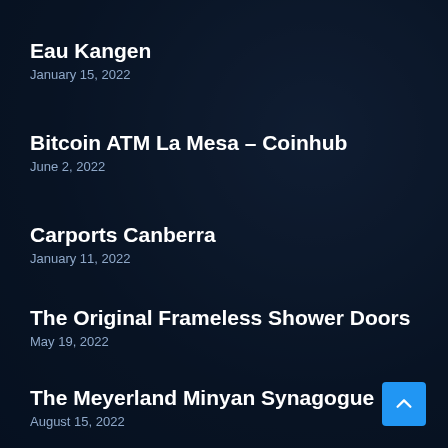Eau Kangen
January 15, 2022
Bitcoin ATM La Mesa – Coinhub
June 2, 2022
Carports Canberra
January 11, 2022
The Original Frameless Shower Doors
May 19, 2022
The Meyerland Minyan Synagogue
August 15, 2022